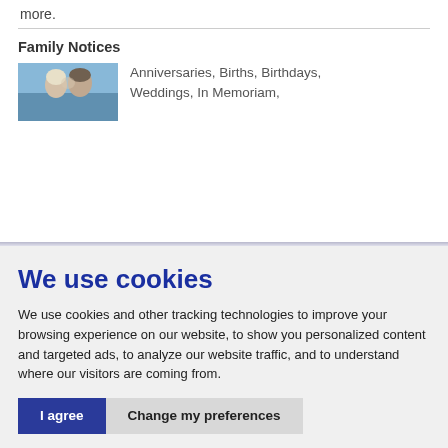more.
Family Notices
[Figure (photo): Photo of a couple close together, appearing to be at a wedding or romantic event]
Anniversaries, Births, Birthdays, Weddings, In Memoriam,
We use cookies
We use cookies and other tracking technologies to improve your browsing experience on our website, to show you personalized content and targeted ads, to analyze our website traffic, and to understand where our visitors are coming from.
I agree
Change my preferences